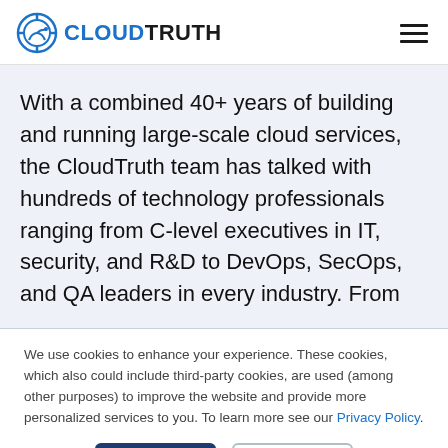CloudTruth
With a combined 40+ years of building and running large-scale cloud services, the CloudTruth team has talked with hundreds of technology professionals ranging from C-level executives in IT, security, and R&D to DevOps, SecOps, and QA leaders in every industry. From
We use cookies to enhance your experience. These cookies, which also could include third-party cookies, are used (among other purposes) to improve the website and provide more personalized services to you. To learn more see our Privacy Policy.
Accept
Decline